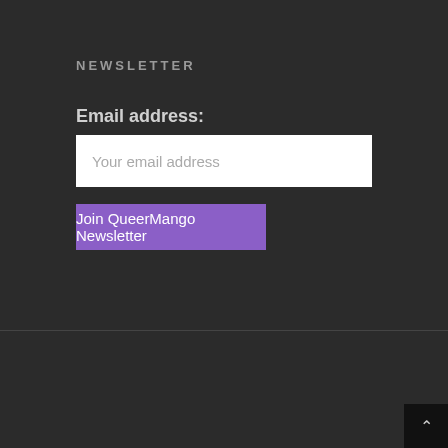NEWSLETTER
Email address:
Your email address
Join QueerMango Newsletter
© 2022 QueerMango.
[Figure (infographic): Social media icons row: Twitter (pink), Facebook (pink), Pinterest (grey), YouTube (grey), Instagram (pink)]